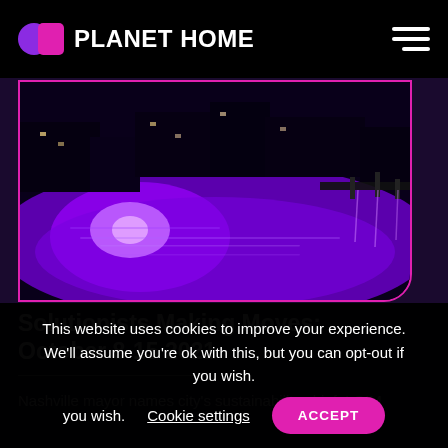PLANET HOME
[Figure (photo): Nighttime cityscape with purple-lit waterfront and reflections on water]
Solutionists Making Moves: October 8-15 2021
Nashville mayor names city's sustainability chief, LOIM
This website uses cookies to improve your experience. We'll assume you're ok with this, but you can opt-out if you wish. Cookie settings ACCEPT